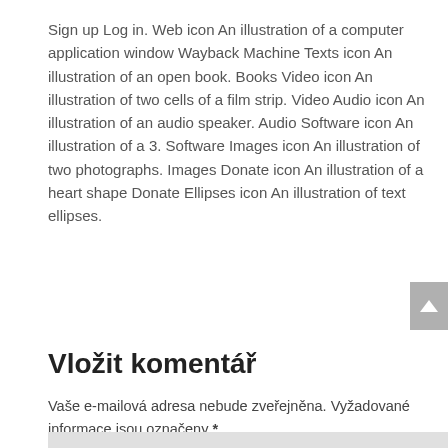Sign up Log in. Web icon An illustration of a computer application window Wayback Machine Texts icon An illustration of an open book. Books Video icon An illustration of two cells of a film strip. Video Audio icon An illustration of an audio speaker. Audio Software icon An illustration of a 3. Software Images icon An illustration of two photographs. Images Donate icon An illustration of a heart shape Donate Ellipses icon An illustration of text ellipses.
Vložit komentář
Vaše e-mailová adresa nebude zveřejněna. Vyžadované informace jsou označeny *